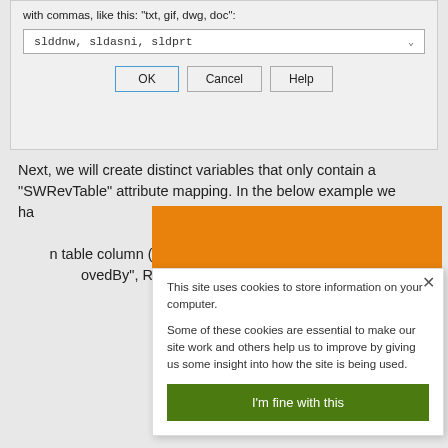[Figure (screenshot): Dialog box with text field showing 'slddnw, sldasni, sldprt' and OK, Cancel, Help buttons]
Next, we will create distinct variables that only contain a "SWRevTable" attribute mapping. In the below example we ha... vision" which will captu... able. Create additio... n table column (Exam... ovedBy", RT_Ap...
[Figure (screenshot): Cookie consent popup with orange header bar, text about cookies, and green 'I'm fine with this' button and X close button]
Edit Va...
[Figure (screenshot): Edit Variable panel with Variable fields showing RT_R... and Text, with options for 'n free', 'atory values', 'e values']